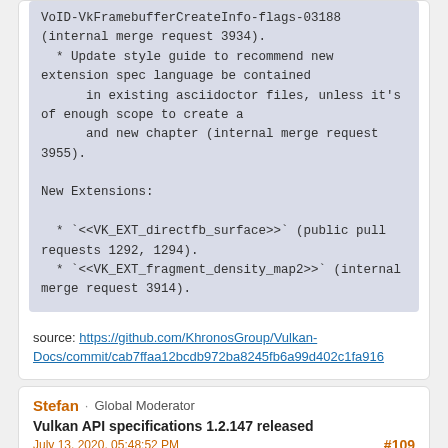VoID-VkFramebufferCreateInfo-flags-03188 (internal merge request 3934).
  * Update style guide to recommend new extension spec language be contained
      in existing asciidoctor files, unless it's of enough scope to create a
      and new chapter (internal merge request 3955).

New Extensions:

  * `<<VK_EXT_directfb_surface>>` (public pull requests 1292, 1294).
  * `<<VK_EXT_fragment_density_map2>>` (internal merge request 3914).
source: https://github.com/KhronosGroup/Vulkan-Docs/commit/cab7ffaa12bcdb972ba8245fb6a99d402c1fa916
Stefan · Global Moderator
Vulkan API specifications 1.2.147 released
July 13, 2020, 05:48:52 PM
#109